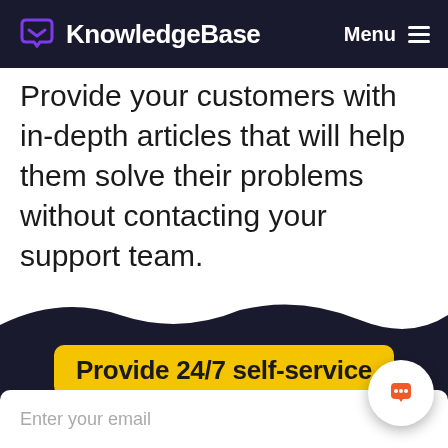KnowledgeBase   Menu
Provide your customers with in-depth articles that will help them solve their problems without contacting your support team.
Provide 24/7 self-service
Answer more questions in less time
Enter your email